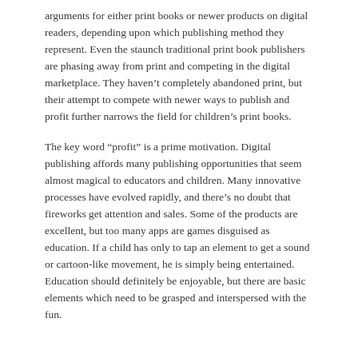arguments for either print books or newer products on digital readers, depending upon which publishing method they represent. Even the staunch traditional print book publishers are phasing away from print and competing in the digital marketplace. They haven't completely abandoned print, but their attempt to compete with newer ways to publish and profit further narrows the field for children's print books.
The key word “profit” is a prime motivation. Digital publishing affords many publishing opportunities that seem almost magical to educators and children. Many innovative processes have evolved rapidly, and there’s no doubt that fireworks get attention and sales. Some of the products are excellent, but too many apps are games disguised as education. If a child has only to tap an element to get a sound or cartoon-like movement, he is simply being entertained. Education should definitely be enjoyable, but there are basic elements which need to be grasped and interspersed with the fun.